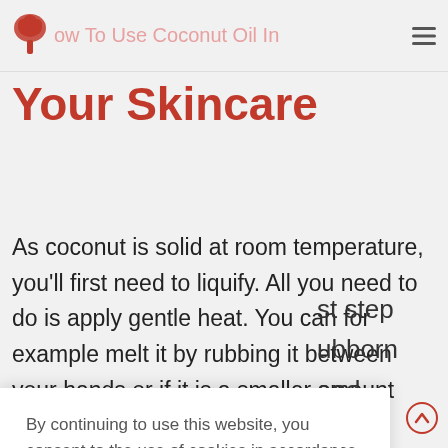How To Use Coconut Oil In Your Skincare
How To Use Coconut Oil In Your Skincare
As coconut is solid at room temperature, you'll first need to liquify. All you need to do is apply gentle heat. You can for example melt it by rubbing it between your hands or if it is a smaller amount
By continuing to use this website, you consent to the use of cookies in accordance with our Cookie Policy.
ACCEPT
st step
ubborn
and